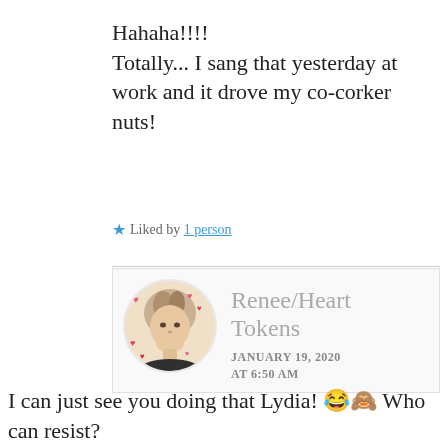Hahaha!!!!
Totally... I sang that yesterday at work and it drove my co-corker nuts!
★ Liked by 1 person
Renee/Heart Tokens
JANUARY 19, 2020 AT 6:50 AM
I can just see you doing that Lydia! 😂🙈 Who can resist?